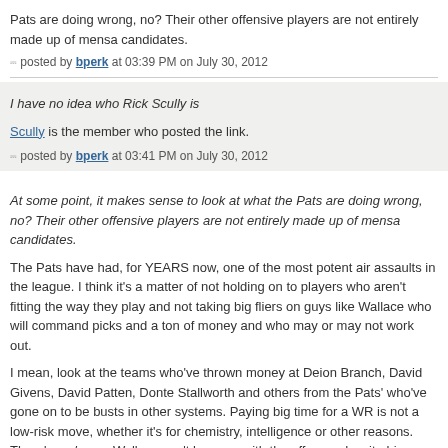Pats are doing wrong, no? Their other offensive players are not entirely made up of mensa candidates.
posted by bperk at 03:39 PM on July 30, 2012
I have no idea who Rick Scully is
Scully is the member who posted the link.
posted by bperk at 03:41 PM on July 30, 2012
At some point, it makes sense to look at what the Pats are doing wrong, no? Their other offensive players are not entirely made up of mensa candidates.
The Pats have had, for YEARS now, one of the most potent air assaults in the league. I think it's a matter of not holding on to players who aren't fitting the way they play and not taking big fliers on guys like Wallace who will command picks and a ton of money and who may or may not work out.
I mean, look at the teams who've thrown money at Deion Branch, David Givens, David Patten, Donte Stallworth and others from the Pats' who've gone on to be busts in other systems. Paying big time for a WR is not a low-risk move, whether it's for chemistry, intelligence or other reasons. There's a chance Wallace can't keep up with the offence, despite his awesome physical skills. In a more straightforward scheme where he's running one-read, deep routes, he's a lot less of a risk.